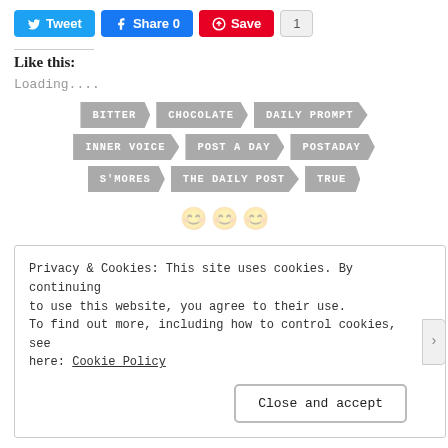[Figure (screenshot): Social share buttons: Tweet (blue), Share 0 (Facebook blue), Save (Pinterest red), count badge showing 1]
Like this:
Loading....
[Figure (infographic): Tag cloud with arrow-shaped badges: BITTER, CHOCOLATE, DAILY PROMPT, INNER VOICE, POST A DAY, POSTADAY, S'MORES, THE DAILY POST, TRUE]
Privacy & Cookies: This site uses cookies. By continuing to use this website, you agree to their use.
To find out more, including how to control cookies, see here: Cookie Policy
Close and accept